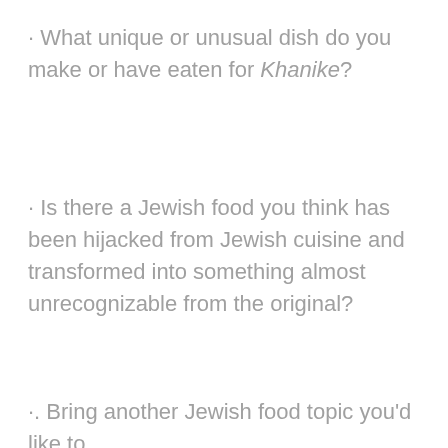· What unique or unusual dish do you make or have eaten for Khanike?
· Is there a Jewish food you think has been hijacked from Jewish cuisine and transformed into something almost unrecognizable from the original?
·. Bring another Jewish food topic you'd like to